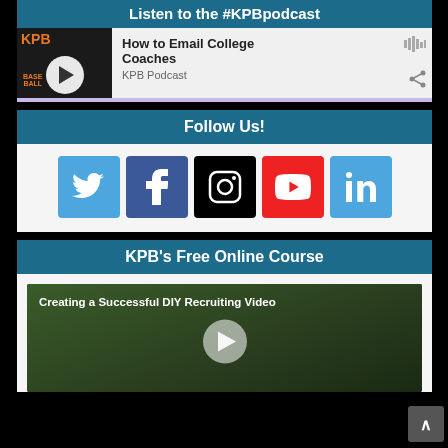Listen to the #KPBpodcast
[Figure (screenshot): KPB Podcast player showing episode 'How to Email College Coaches' with play button and KPB Baseball logo thumbnail]
Follow Us!
[Figure (infographic): Social media icons row: Twitter, Facebook, Instagram, YouTube, LinkedIn]
KPB's Free Online Course
[Figure (screenshot): Video thumbnail for 'Creating a Successful DIY Recruiting Video' with play button overlay over baseball scene]